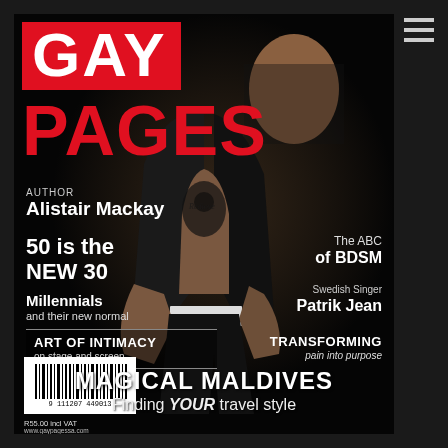[Figure (photo): Magazine cover of Gay Pages featuring a tattooed male model wearing a black blazer open over bare torso in Calvin Klein underwear, photographed against a dark background]
GAY
PAGES
AUTHOR Alistair Mackay
50 is the NEW 30
Millennials and their new normal
ART OF INTIMACY on stage and screen
The ABC of BDSM
Swedish Singer Patrik Jean
TRANSFORMING pain into purpose
MAGICAL MALDIVES Finding YOUR travel style
R55.00 incl VAT www.gaypagessa.com